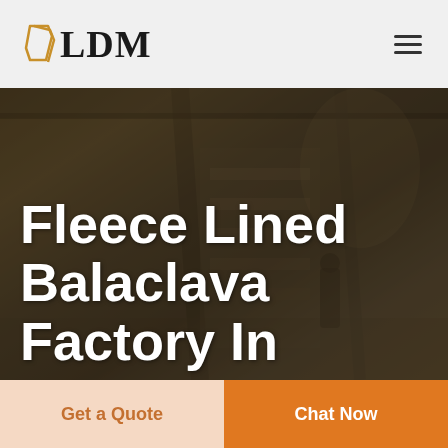LDM
[Figure (photo): Factory/warehouse interior background with workers, shown in dark brownish overlay]
Fleece Lined Balaclava Factory In
Get a Quote
Chat Now